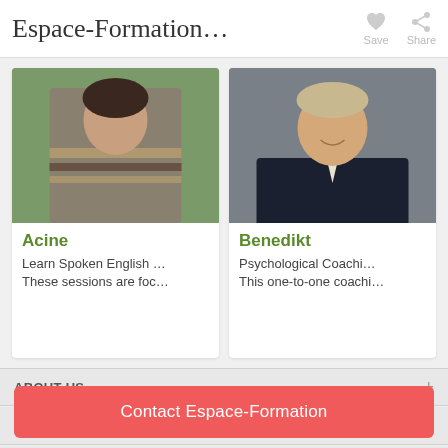Espace-Formation…
[Figure (photo): Photo of Acine, person with knitted sweater outdoors with green background]
Acine
Learn Spoken English …
These sessions are foc…
[Figure (photo): Photo of Benedikt, smiling man in dark shirt against grey background]
Benedikt
Psychological Coachi…
This one-to-one coachi…
ABOUT US
FOLLOW US
INVITE YOUR FRIENDS
Contact Espace-Formation